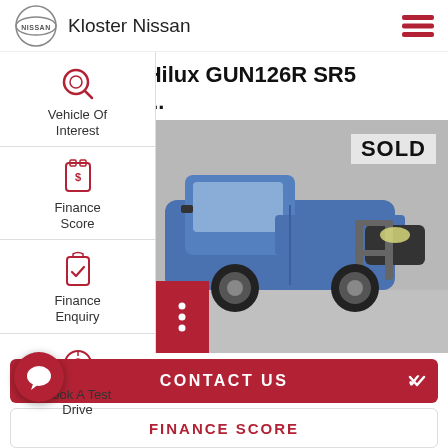Kloster Nissan
2019 Toyota Hilux GUN126R SR5 Double Cab Blue 6...
[Figure (screenshot): Side navigation menu with icons: Vehicle Of Interest (magnifying glass), Finance Score (calendar/document), Finance Enquiry (clipboard with checkmark), Book A Test Drive (steering wheel). Also shows a blue Toyota Hilux SR5 pickup truck with bull bar, partially visible, with SOLD overlay text in top right. A dark red button with three dots is visible at bottom left of the car image area.]
SOLD
CONTACT US
FINANCE SCORE